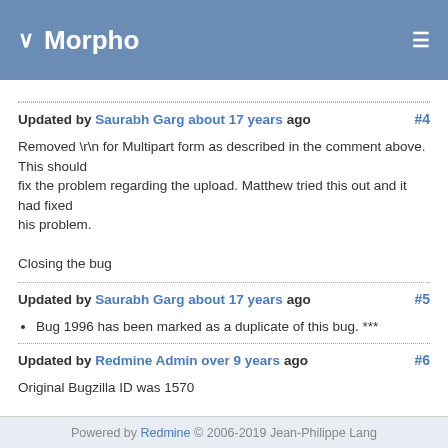Morpho
Updated by Saurabh Garg about 17 years ago #4
Removed \r\n for Multipart form as described in the comment above. This should
fix the problem regarding the upload. Matthew tried this out and it had fixed
his problem.

Closing the bug
Updated by Saurabh Garg about 17 years ago #5
Bug 1996 has been marked as a duplicate of this bug. ***
Updated by Redmine Admin over 9 years ago #6
Original Bugzilla ID was 1570
Also available in: Atom | PDF
Powered by Redmine © 2006-2019 Jean-Philippe Lang